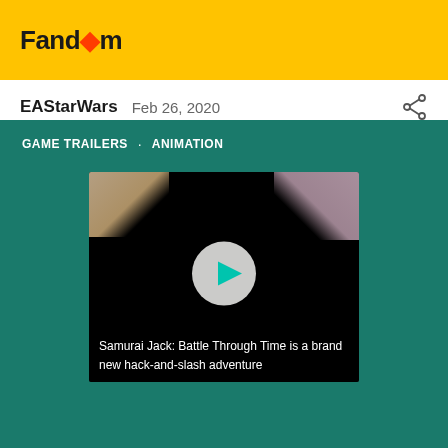Fandom
EAStarWars  Feb 26, 2020
GAME TRAILERS · ANIMATION
[Figure (screenshot): Video thumbnail with play button. Dark background with decorative corners. Caption reads: Samurai Jack: Battle Through Time is a brand new hack-and-slash adventure]
Samurai Jack: Battle Through Time is a brand new hack-and-slash adventure